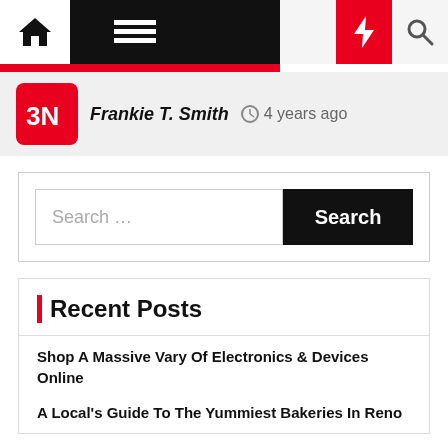[Figure (screenshot): Website navigation bar with home icon, hamburger menu, dark/light toggle, flash/breaking news button, and search icon]
Frankie T. Smith  ⏱ 4 years ago
[Figure (screenshot): Search bar with placeholder text 'Search ...' and black Search button]
Recent Posts
Shop A Massive Vary Of Electronics & Devices Online
A Local's Guide To The Yummiest Bakeries In Reno